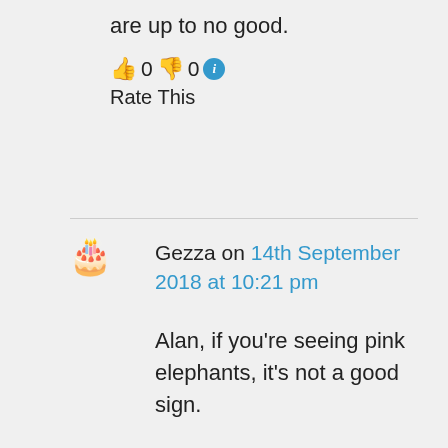are up to no good.
👍 0 👎 0 ℹ Rate This
Gezza on 14th September 2018 at 10:21 pm
Alan, if you're seeing pink elephants, it's not a good sign.